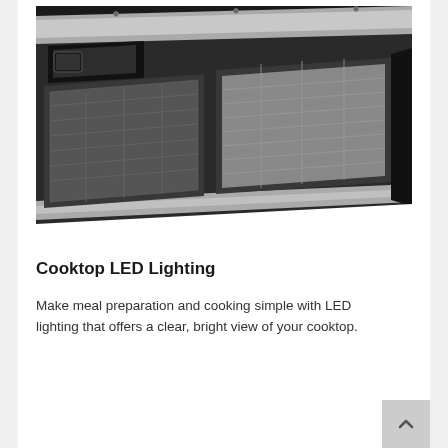[Figure (photo): Close-up photograph of the underside of a black kitchen range hood showing two mesh grease filters, a small LED light/control panel on the left, and a silver trim strip along the back edge. The hood is mounted at an angle against a dark wall.]
Cooktop LED Lighting
Make meal preparation and cooking simple with LED lighting that offers a clear, bright view of your cooktop.